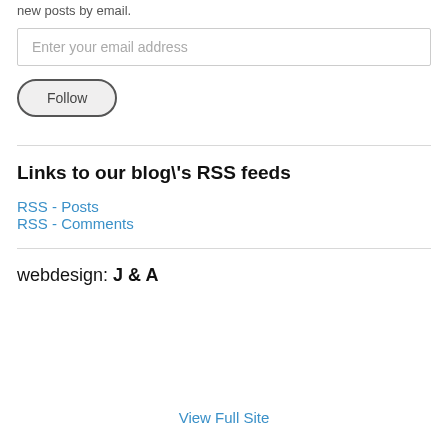new posts by email.
Enter your email address
Follow
Links to our blog\'s RSS feeds
RSS - Posts
RSS - Comments
webdesign: J & A
View Full Site